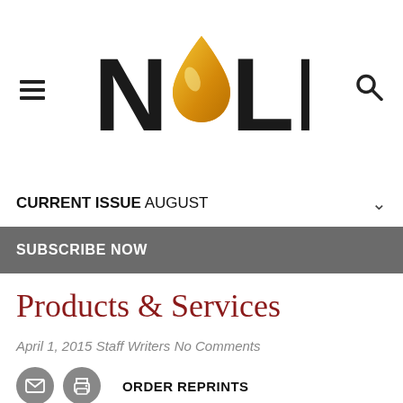[Figure (logo): NOLN logo with oil drop replacing the letter O, bold black sans-serif letters N and LN with a yellow/gold oil drop in the center]
CURRENT ISSUE AUGUST
SUBSCRIBE NOW
Products & Services
April 1, 2015   Staff Writers   No Comments
ORDER REPRINTS